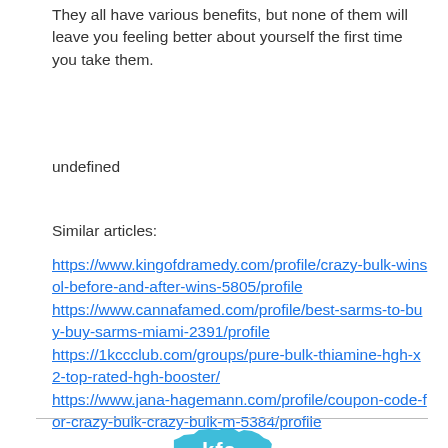They all have various benefits, but none of them will leave you feeling better about yourself the first time you take them.
undefined
Similar articles:
https://www.kingofdramedy.com/profile/crazy-bulk-winsol-before-and-after-wins-5805/profile
https://www.cannafamed.com/profile/best-sarms-to-buy-buy-sarms-miami-2391/profile
https://1kccclub.com/groups/pure-bulk-thiamine-hgh-x2-top-rated-hgh-booster/
https://www.jana-hagemann.com/profile/coupon-code-for-crazy-bulk-crazy-bulk-m-5384/profile
[Figure (logo): Kentucky Family Association (kfa) logo with state of Kentucky silhouette in teal/blue]